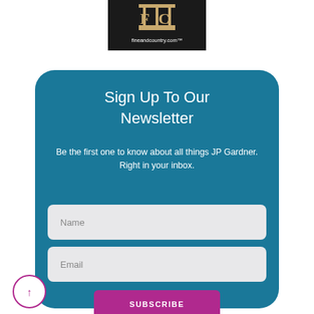[Figure (logo): Fine & Country logo with 'fineandcountry.com' text on dark background]
Sign Up To Our Newsletter
Be the first one to know about all things JP Gardner. Right in your inbox.
[Figure (screenshot): Name input field (text box)]
[Figure (screenshot): Email input field (text box)]
[Figure (screenshot): SUBSCRIBE button in pink/magenta]
[Figure (other): Scroll-to-top circular button with upward arrow in magenta outline]